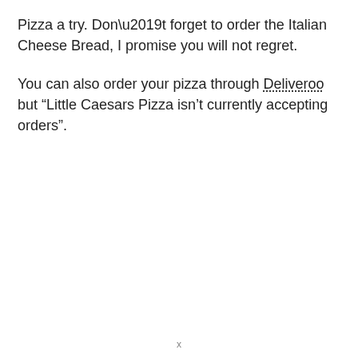Pizza a try. Don’t forget to order the Italian Cheese Bread, I promise you will not regret.
You can also order your pizza through Deliveroo but “Little Caesars Pizza isn’t currently accepting orders”.